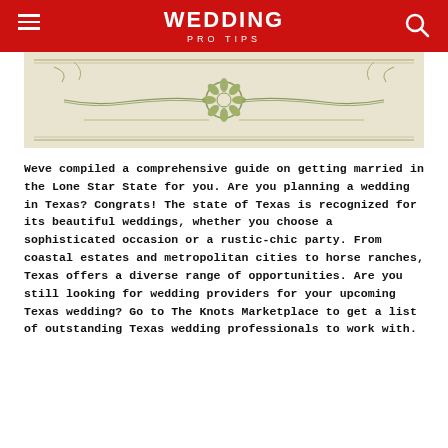WEDDING PRO TIPS
[Figure (illustration): Decorative vintage wedding certificate or floral design illustration with ornamental border elements and floral motif in center, on aged parchment background]
Weve compiled a comprehensive guide on getting married in the Lone Star State for you. Are you planning a wedding in Texas? Congrats! The state of Texas is recognized for its beautiful weddings, whether you choose a sophisticated occasion or a rustic-chic party. From coastal estates and metropolitan cities to horse ranches, Texas offers a diverse range of opportunities. Are you still looking for wedding providers for your upcoming Texas wedding? Go to The Knots Marketplace to get a list of outstanding Texas wedding professionals to work with.